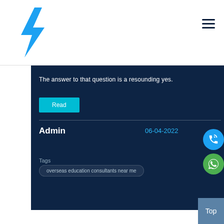[Figure (logo): Blue lightning bolt logo]
The answer to that question is a resounding yes.
Read
Admin
06-04-2022
Tags
overseas education consultants near me
Top